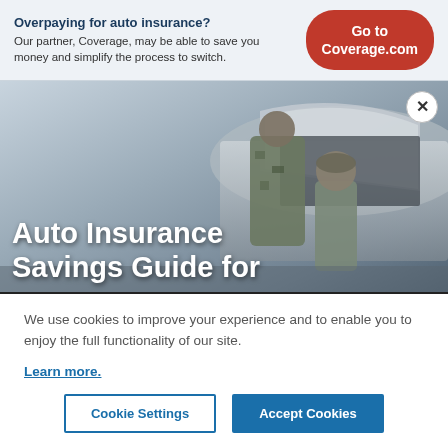Overpaying for auto insurance? Our partner, Coverage, may be able to save you money and simplify the process to switch.
Go to Coverage.com
[Figure (photo): Hero image of a person in military camouflage uniform working on a car with a child nearby wearing a helmet, with text overlay reading 'Auto Insurance Savings Guide for']
We use cookies to improve your experience and to enable you to enjoy the full functionality of our site.
Learn more.
Cookie Settings
Accept Cookies